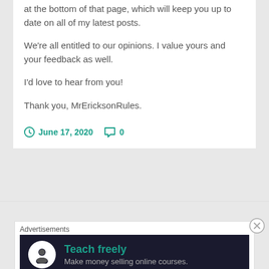at the bottom of that page, which will keep you up to date on all of my latest posts.

We're all entitled to our opinions.  I value yours and your feedback as well.

I'd love to hear from you!

Thank you, MrEricksonRules.
June 17, 2020   0
Advertisements
[Figure (other): Advertisement banner with dark background showing a person icon and text 'Teach freely - Make money selling online courses.']